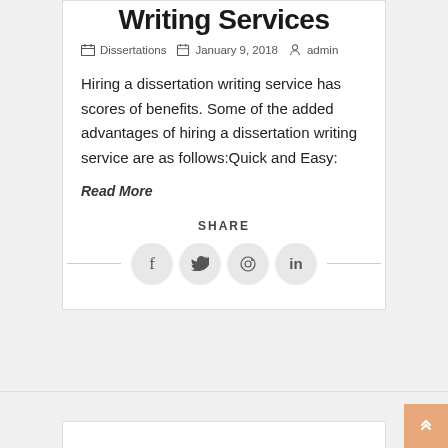Writing Services
Dissertations  January 9, 2018  admin
Hiring a dissertation writing service has scores of benefits. Some of the added advantages of hiring a dissertation writing service are as follows:Quick and Easy:
Read More
SHARE